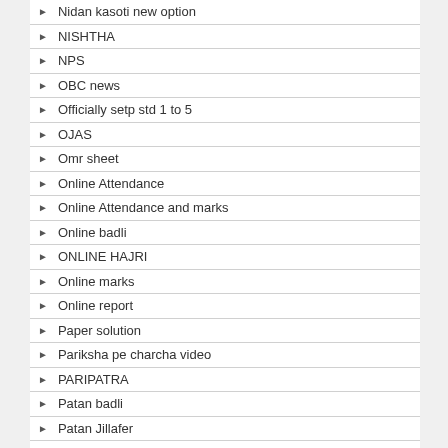Nidan kasoti new option
NISHTHA
NPS
OBC news
Officially setp std 1 to 5
OJAS
Omr sheet
Online Attendance
Online Attendance and marks
Online badli
ONLINE HAJRI
Online marks
Online report
Paper solution
Pariksha pe charcha video
PARIPATRA
Patan badli
Patan Jillafer
PAY SCALE